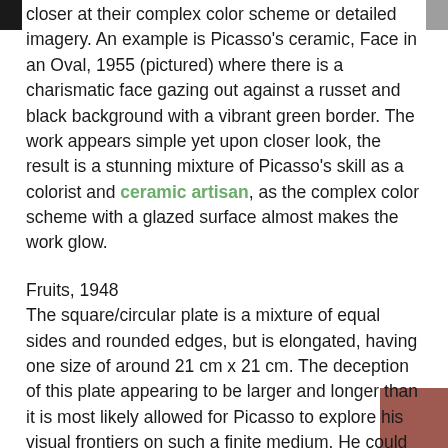closer at their complex color scheme or detailed imagery. An example is Picasso's ceramic, Face in an Oval, 1955 (pictured) where there is a charismatic face gazing out against a russet and black background with a vibrant green border. The work appears simple yet upon closer look, the result is a stunning mixture of Picasso's skill as a colorist and ceramic artisan, as the complex color scheme with a glazed surface almost makes the work glow.
Fruits, 1948
The square/circular plate is a mixture of equal sides and rounded edges, but is elongated, having one size of around 21 cm x 21 cm. The deception of this plate appearing to be larger and longer than it is most likely allowed for Picasso to explore his visual frontiers on such a finite medium. He could place things anywhere he wished, as it needn't be harmonized or coherent as it could hide behind the shape of the plate. An example is Picasso's ceramic, Fruits, 1948, which portrays an abstract creature in the middle of the plate with fl...